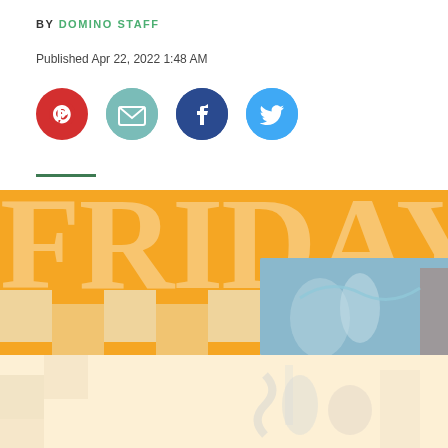BY DOMINO STAFF
Published Apr 22, 2022 1:48 AM
[Figure (infographic): Social share icons: Pinterest (red circle), Email (teal circle), Facebook (dark blue circle), Twitter (light blue circle)]
[Figure (illustration): Orange banner with large semi-transparent 'FRIDAY' text in serif font, checkerboard pattern elements, and a photo of clothing/items overlaid. Below is a light peach panel with faded product imagery.]